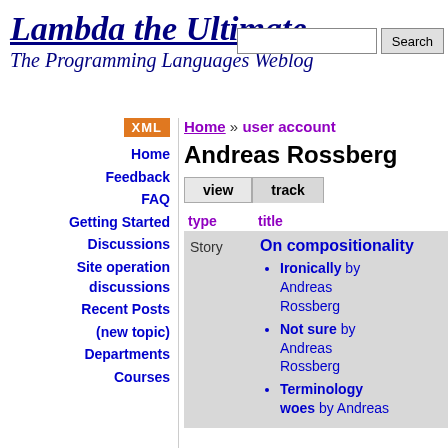Lambda the Ultimate
The Programming Languages Weblog
Home » user account
Andreas Rossberg
view | track
| type | title |
| --- | --- |
| Story | On compositionality • Ironically by Andreas Rossberg • Not sure by Andreas Rossberg • Terminology woes by Andreas |
Home
Feedback
FAQ
Getting Started
Discussions
Site operation discussions
Recent Posts
(new topic)
Departments
Courses